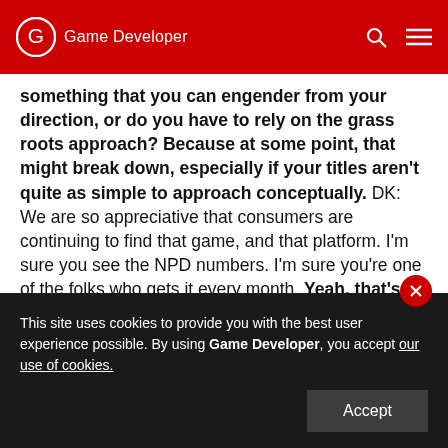Game Developer
something that you can engender from your direction, or do you have to rely on the grass roots approach? Because at some point, that might break down, especially if your titles aren't quite as simple to approach conceptually. DK: We are so appreciative that consumers are continuing to find that game, and that platform. I'm sure you see the NPD numbers. I'm sure you're one of the folks who gets it every month. Yeah, that's the thing, right, because it's experiential. It's something that people come to understand...
This site uses cookies to provide you with the best user experience possible. By using Game Developer, you accept our use of cookies.